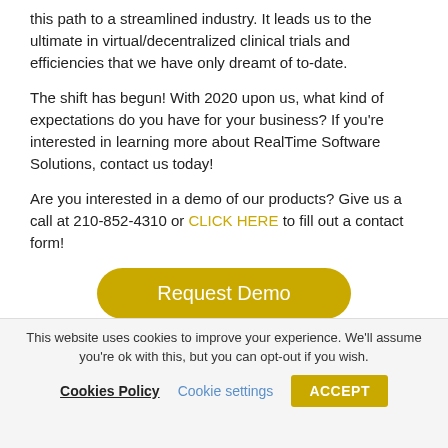this path to a streamlined industry. It leads us to the ultimate in virtual/decentralized clinical trials and efficiencies that we have only dreamt of to-date.
The shift has begun! With 2020 upon us, what kind of expectations do you have for your business? If you're interested in learning more about RealTime Software Solutions, contact us today!
Are you interested in a demo of our products? Give us a call at 210-852-4310 or CLICK HERE to fill out a contact form!
[Figure (other): Yellow rounded button labeled 'Request Demo']
This website uses cookies to improve your experience. We'll assume you're ok with this, but you can opt-out if you wish.
Cookies Policy   Cookie settings   ACCEPT